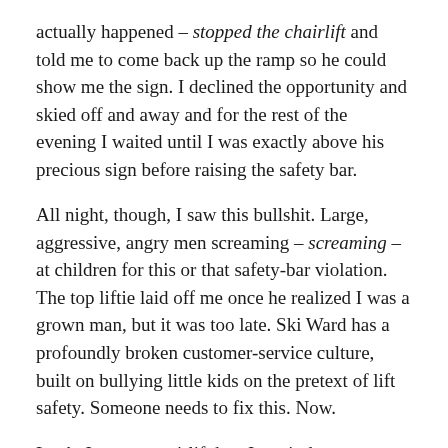actually happened – stopped the chairlift and told me to come back up the ramp so he could show me the sign. I declined the opportunity and skied off and away and for the rest of the evening I waited until I was exactly above his precious sign before raising the safety bar.
All night, though, I saw this bullshit. Large, aggressive, angry men screaming – screaming – at children for this or that safety-bar violation. The top liftie laid off me once he realized I was a grown man, but it was too late. Ski Ward has a profoundly broken customer-service culture, built on bullying little kids on the pretext of lift safety. Someone needs to fix this. Now.
Look, I am not anti-lift bar. I put it down every time, unless I am out West and riding with some version of Studly Bro who is simply too fucking cool for such nonsense. But that was literally my 493rd chairlift ride